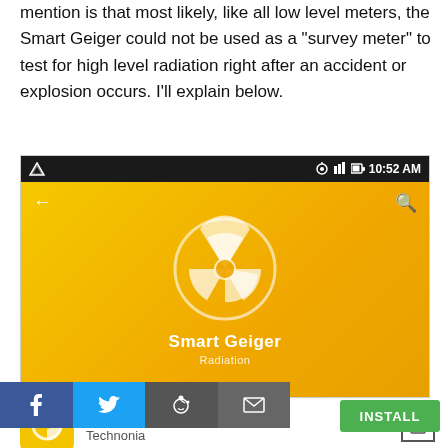mention is that most likely, like all low level meters, the Smart Geiger could not be used as a "survey meter" to test for high level radiation right after an accident or explosion occurs. I'll explain below.
[Figure (screenshot): Android smartphone screenshot of the Smart Geiger app. Shows a black status bar with time 10:52 AM, and a yellow/gold background with a white radiation symbol (trefoil) and the text 'Smart Geiger' in bold white and 'Radiation' subtitle below it. Navigation arrows visible at top left and right.]
[Figure (screenshot): Google Play Store listing row showing Smart Geiger EX app by Technonia, with yellow icon, app name, developer name, wishlist icon, and INSTALL button in green.]
[Figure (infographic): Social sharing bar with four buttons: Facebook (blue, f icon), Twitter (light blue, bird icon), Reddit (dark gray, alien icon), Email (gray, envelope icon).]